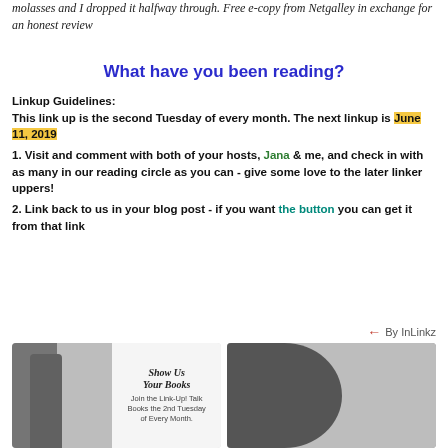molasses and I dropped it halfway through. Free e-copy from Netgalley in exchange for an honest review
What have you been reading?
Linkup Guidelines:
This link up is the second Tuesday of every month. The next linkup is June 11, 2019
1. Visit and comment with both of your hosts, Jana & me, and check in with as many in our reading circle as you can - give some love to the later linker uppers!
2. Link back to us in your blog post - if you want the button you can get it from that link
By InLinkz
[Figure (photo): Show Us Your Books link-up image with two women and event text]
[Figure (photo): Woman holding a book up to her face in a car]